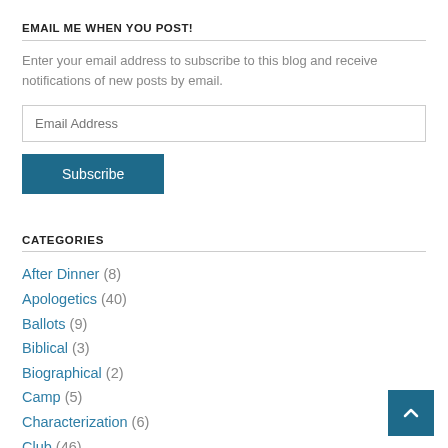EMAIL ME WHEN YOU POST!
Enter your email address to subscribe to this blog and receive notifications of new posts by email.
CATEGORIES
After Dinner (8)
Apologetics (40)
Ballots (9)
Biblical (3)
Biographical (2)
Camp (5)
Characterization (6)
Club (46)